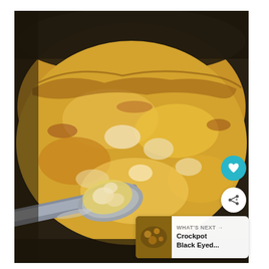[Figure (photo): Close-up photo of a cheesy potato casserole (hashbrown casserole) in a dark crockpot/slow cooker, with a large spoon scooping a creamy, cheesy portion. The dish is topped with melted golden cheddar cheese. In the bottom-right corner there is a 'WHAT'S NEXT' widget showing a thumbnail and text 'Crockpot Black Eyed...' along with heart and share icon buttons.]